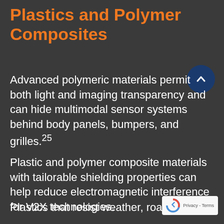Plastics and Polymer Composites
Advanced polymeric materials permit both light and imaging transparency and can hide multimodal sensor systems behind body panels, bumpers, and grilles.25
Plastic and polymer composite materials with tailorable shielding properties can help reduce electromagnetic interference for V2X technologies.
Plastics that resist weather, road salt,